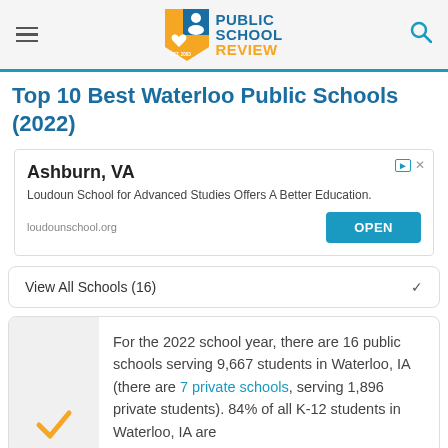Public School Review
Top 10 Best Waterloo Public Schools (2022)
[Figure (screenshot): Advertisement box: Ashburn, VA - Loudoun School for Advanced Studies Offers A Better Education. loudounschool.org with OPEN button]
View All Schools (16)
For the 2022 school year, there are 16 public schools serving 9,667 students in Waterloo, IA (there are 7 private schools, serving 1,896 private students). 84% of all K-12 students in Waterloo, IA are